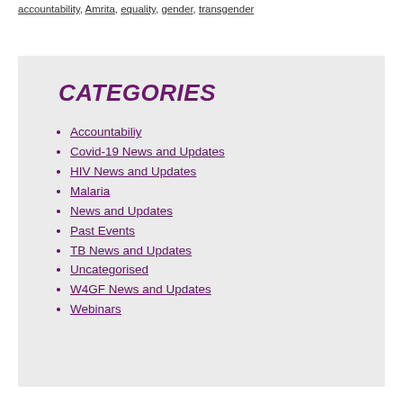accountability, Amrita, equality, gender, transgender
CATEGORIES
Accountabiliy
Covid-19 News and Updates
HIV News and Updates
Malaria
News and Updates
Past Events
TB News and Updates
Uncategorised
W4GF News and Updates
Webinars